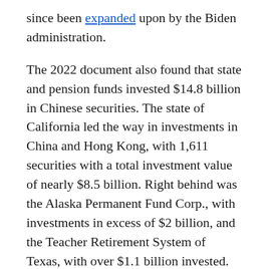since been expanded upon by the Biden administration.
The 2022 document also found that state and pension funds invested $14.8 billion in Chinese securities. The state of California led the way in investments in China and Hong Kong, with 1,611 securities with a total investment value of nearly $8.5 billion. Right behind was the Alaska Permanent Fund Corp., with investments in excess of $2 billion, and the Teacher Retirement System of Texas, with over $1.1 billion invested.
“Ultimately, the decision of whether the FTRIB should invest in China is one that Congress should make, and the decision should be to ban such investment,” said